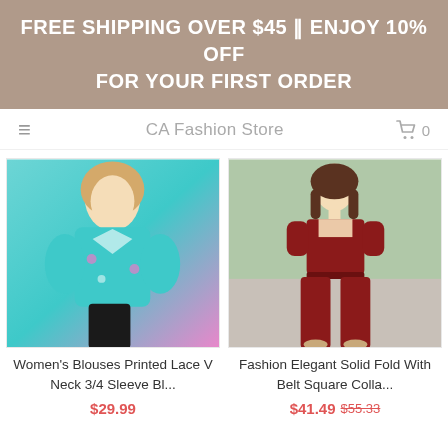FREE SHIPPING OVER $45 || ENJOY 10% OFF FOR YOUR FIRST ORDER
CA Fashion Store
[Figure (photo): Woman wearing a teal/turquoise printed lace V-neck 3/4 sleeve blouse with floral and paisley patterns]
Women's Blouses Printed Lace V Neck 3/4 Sleeve Bl...
$29.99
[Figure (photo): Woman wearing a dark red/burgundy fashion elegant solid jumpsuit with belt and square collar, wide leg pants]
Fashion Elegant Solid Fold With Belt Square Colla...
$41.49  $55.33